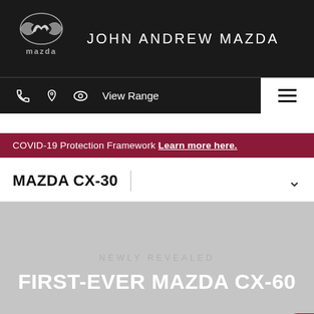JOHN ANDREW MAZDA
[Figure (logo): Mazda logo — silver winged M emblem above 'mazda' wordmark in silver on black background]
[Figure (screenshot): Navigation bar with phone icon, location pin icon, eye icon, 'View Range' text on black left side, and hamburger menu icon on white right side]
COVID-19 Protection Framework Learn more here.
MAZDA CX-30
NEWLY REVEALED
FIRST-EVER MAZDA CX-60